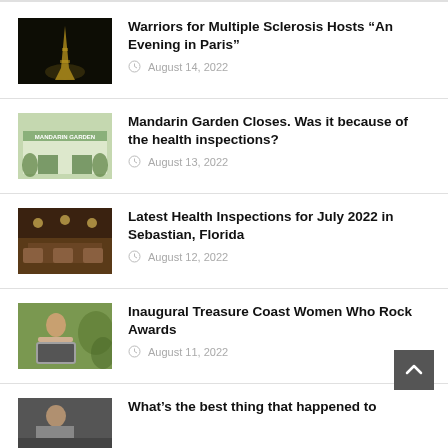Warriors for Multiple Sclerosis Hosts “An Evening in Paris” | August 14, 2022
Mandarin Garden Closes. Was it because of the health inspections? | August 13, 2022
Latest Health Inspections for July 2022 in Sebastian, Florida | August 12, 2022
Inaugural Treasure Coast Women Who Rock Awards | August 11, 2022
What’s the best thing that happened to